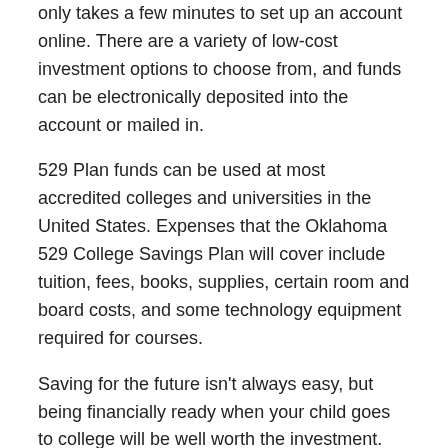only takes a few minutes to set up an account online. There are a variety of low-cost investment options to choose from, and funds can be electronically deposited into the account or mailed in.
529 Plan funds can be used at most accredited colleges and universities in the United States. Expenses that the Oklahoma 529 College Savings Plan will cover include tuition, fees, books, supplies, certain room and board costs, and some technology equipment required for courses.
Saving for the future isn't always easy, but being financially ready when your child goes to college will be well worth the investment. Here are a few things to think about when considering opening an Oklahoma 529 College Savings Plan:
1. Contributions made to the 529 Plan grow as tax-free earnings in the account and can be deducted from your Oklahoma taxable income.
2. Deductible contributions, even if the next tax year, allow...